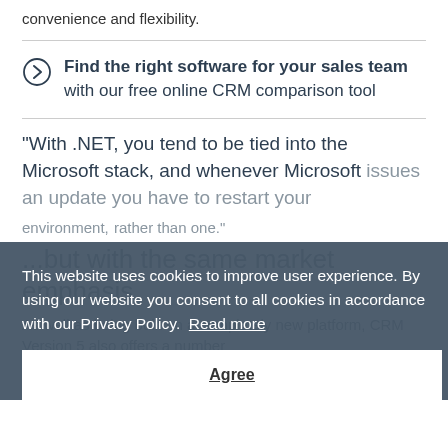convenience and flexibility.
Find the right software for your sales team with our free online CRM comparison tool
“With .NET, you tend to be tied into the Microsoft stack, and whenever Microsoft issues an update you have to restart your environment, rather than one.”
...but with the same market emphasis
As well as being built on a completely new platform, CRM Version 5 also offers a number
This website uses cookies to improve user experience. By using our website you consent to all cookies in accordance with our Privacy Policy. Read more
Agree